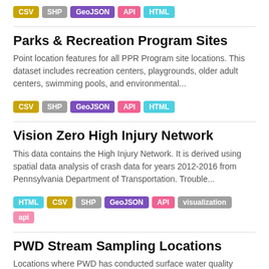CSV SHP GeoJSON API HTML
Parks & Recreation Program Sites
Point location features for all PPR Program site locations. This dataset includes recreation centers, playgrounds, older adult centers, swimming pools, and environmental...
CSV SHP GeoJSON API HTML
Vision Zero High Injury Network
This data contains the High Injury Network. It is derived using spatial data analysis of crash data for years 2012-2016 from Pennsylvania Department of Transportation. Trouble...
HTML CSV SHP GeoJSON API visualization api
PWD Stream Sampling Locations
Locations where PWD has conducted surface water quality